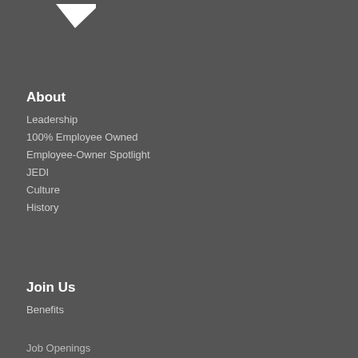[Figure (logo): Partial white logo mark in top-left corner, appears to be a stylized angular shape]
About
Leadership
100% Employee Owned
Employee-Owner Spotlight
JEDI
Culture
History
Join Us
Benefits
Job Openings